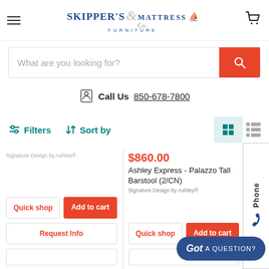[Figure (logo): Skipper's Furniture & Mattress Co. logo with anchor/sailboat graphic]
What are you looking for?
Call Us 850-678-7800
Filters  Sort by
Signature Design by Ashley®
$860.00
Ashley Express - Palazzo Tall Barstool (2/CN)
Signature Design by Ashley®
Quick shop
Add to cart
Quick shop
Add to cart
Request Info
Phone
Got A QUESTION?